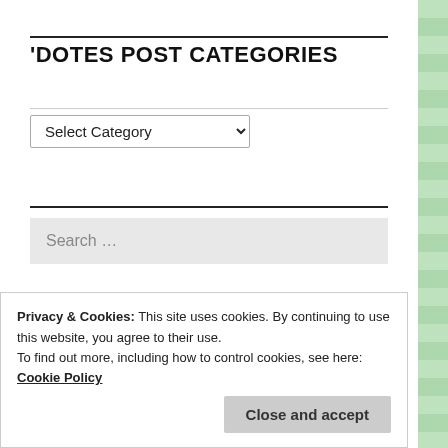'DOTES POST CATEGORIES
[Figure (screenshot): Dropdown select element labeled 'Select Category']
[Figure (screenshot): Search box with placeholder text 'Search ...']
Advertisements
[Figure (logo): Longreads logo: red circle with white L, white text LONGREADS on black background]
Privacy & Cookies: This site uses cookies. By continuing to use this website, you agree to their use.
To find out more, including how to control cookies, see here: Cookie Policy
Close and accept